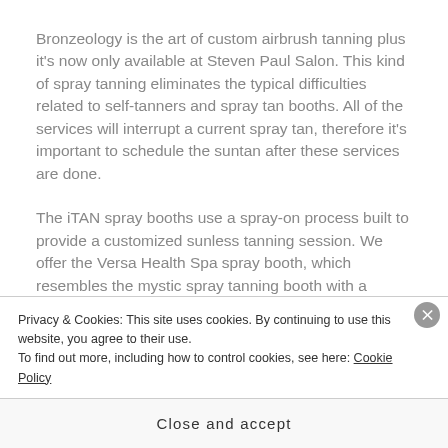Bronzeology is the art of custom airbrush tanning plus it's now only available at Steven Paul Salon. This kind of spray tanning eliminates the typical difficulties related to self-tanners and spray tan booths. All of the services will interrupt a current spray tan, therefore it's important to schedule the suntan after these services are done.
The iTAN spray booths use a spray-on process built to provide a customized sunless tanning session. We offer the Versa Health Spa spray booth, which resembles the mystic spray tanning booth with a couple of upgrades.
Privacy & Cookies: This site uses cookies. By continuing to use this website, you agree to their use.
To find out more, including how to control cookies, see here: Cookie Policy
Close and accept